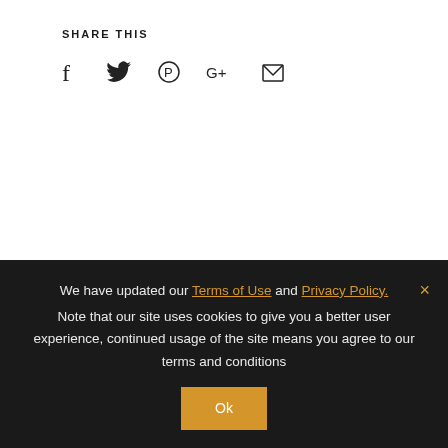SHARE THIS
[Figure (infographic): Social media share icons: Facebook (f), Twitter (bird), Pinterest (P), Google+ (G+), Email (envelope)]
[Figure (photo): Circular cropped photo of spa towels, palm leaf, candle and flower on sandy surface]
PREVIOUS POST
← Our favourite spas in Mauritius
[Figure (photo): Circular cropped photo of tropical greenery and water, partially visible at bottom right]
We have updated our Terms of Use and Privacy Policy. Note that our site uses cookies to give you a better user experience, continued usage of the site means you agree to our terms and conditions
Ok